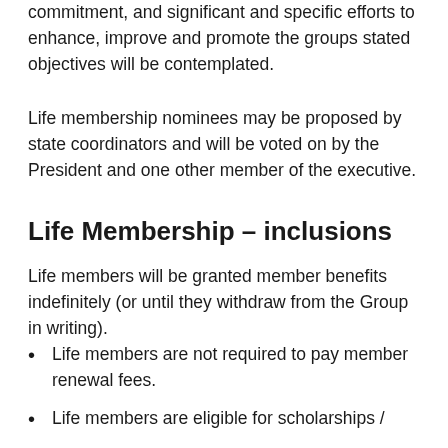commitment, and significant and specific efforts to enhance, improve and promote the groups stated objectives will be contemplated.
Life membership nominees may be proposed by state coordinators and will be voted on by the President and one other member of the executive.
Life Membership – inclusions
Life members will be granted member benefits indefinitely (or until they withdraw from the Group in writing).
Life members are not required to pay member renewal fees.
Life members are eligible for scholarships /